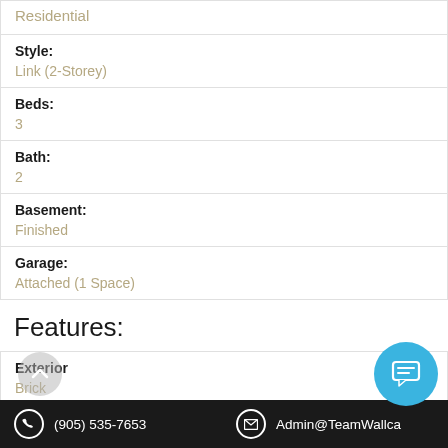Residential
Style:
Link (2-Storey)
Beds:
3
Bath:
2
Basement:
Finished
Garage:
Attached (1 Space)
Features:
Exterior
Brick
(905) 535-7653    Admin@TeamWallca